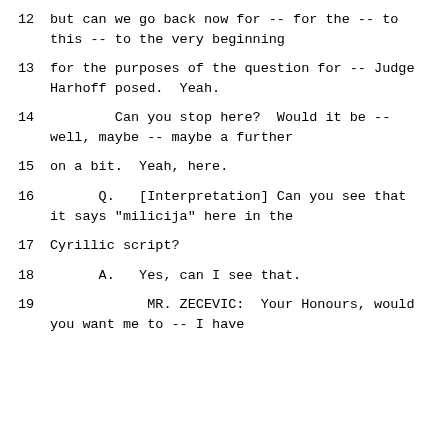12     but can we go back now for -- for the -- to this -- to the very beginning
13     for the purposes of the question for -- Judge Harhoff posed.  Yeah.
14          Can you stop here?  Would it be -- well, maybe -- maybe a further
15     on a bit.  Yeah, here.
16       Q.   [Interpretation] Can you see that it says "milicija" here in the
17     Cyrillic script?
18       A.   Yes, can I see that.
19          MR. ZECEVIC:  Your Honours, would you want me to -- I have